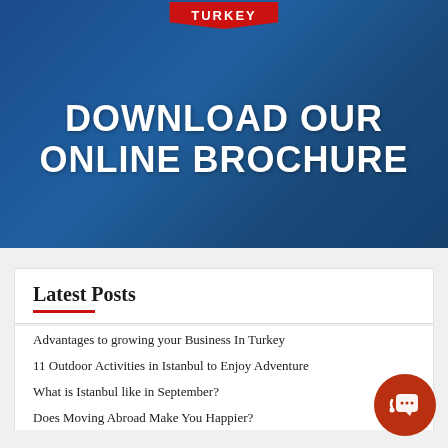[Figure (illustration): Blue-tinted banner with 'TURKEY' badge at top and bold white text reading 'DOWNLOAD OUR ONLINE BROCHURE' on a dark blue background]
Latest Posts
Advantages to growing your Business In Turkey
11 Outdoor Activities in Istanbul to Enjoy Adventure
What is Istanbul like in September?
Does Moving Abroad Make You Happier?
Traditional Turkish Houses and Their Architectural Styles
Five Excellent Halal Beach Resorts in Turkey